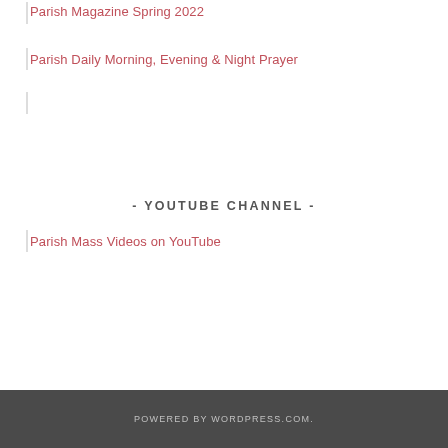Parish Magazine Spring 2022
Parish Daily Morning, Evening & Night Prayer
- YOUTUBE CHANNEL -
Parish Mass Videos on YouTube
POWERED BY WORDPRESS.COM.